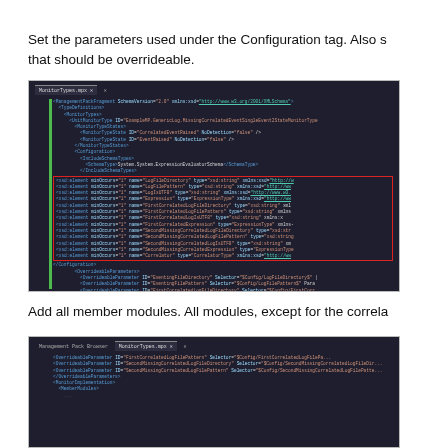Set the parameters used under the Configuration tag. Also s that should be overrideable.
[Figure (screenshot): IDE screenshot showing XML code for ManagementPackFragment with TypeDefinitions, MonitorTypes, IncludeSchemaTypes, and Configuration sections. A red rectangle highlights xsd:element declarations for LogFileDirectory, LogFilePattern, LogIsUTF8, Expression, FirstCorrelatedLogFileDirectory, FirstCorrelatedLogFilePattern, FirstCorrelatedLogIsUTF8, FirstCorrelatedExpression, SecondMissingCorrelatedLogFileDirectory, SecondMissingCorrelatedLogFilePattern, SecondMissingCorrelatedLogIsUTF8, SecondMissingCorrelatedExpression, and Correlator elements. OverrideableParameters section shown below.]
Add all member modules. All modules, except for the correla
[Figure (screenshot): IDE screenshot showing continuation of XML with OverrideableParameter elements and MonitorImplementation section beginning.]